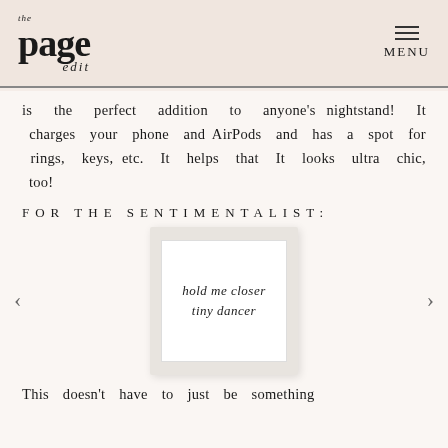the page edit | MENU
is the perfect addition to anyone's nightstand! It charges your phone and AirPods and has a spot for rings, keys, etc. It helps that It looks ultra chic, too!
FOR THE SENTIMENTALIST:
[Figure (photo): A carousel image showing a small art print card with cursive script reading 'hold me closer tiny dancer', displayed in a white card with light gray border, inside a beige/taupe frame. Left and right navigation arrows flank the card.]
This doesn't have to just be something